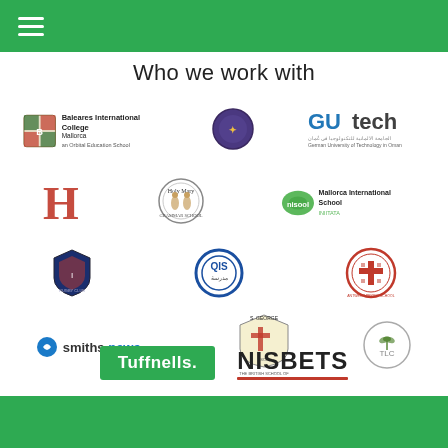Who we work with
[Figure (logo): Grid of partner logos: Baleares International College, circular badge logo, GUtech German University of Technology in Oman, red letter H logo, Holy Mary school circular logo, Mallorca International School, International school shield logo, QIS circular blue logo, Antwerp Priory School circular logo, Smiths News, St George Ison British School, TLC circular logo, Tuffnells green box logo, NISBETS]